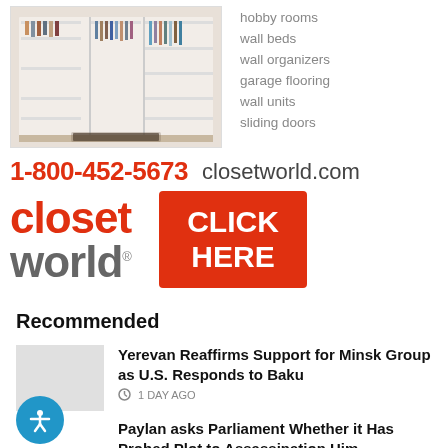[Figure (photo): Closet World advertisement showing a walk-in closet with organized shelving, hanging clothes, and drawers]
hobby rooms
wall beds
wall organizers
garage flooring
wall units
sliding doors
1-800-452-5673  closetworld.com
[Figure (logo): Closet World logo with red 'closet' text, grey 'world' text, and orange 'CLICK HERE' button]
Recommended
Yerevan Reaffirms Support for Minsk Group as U.S. Responds to Baku
1 DAY AGO
Paylan asks Parliament Whether it Has Probed Plot to Assassination Him